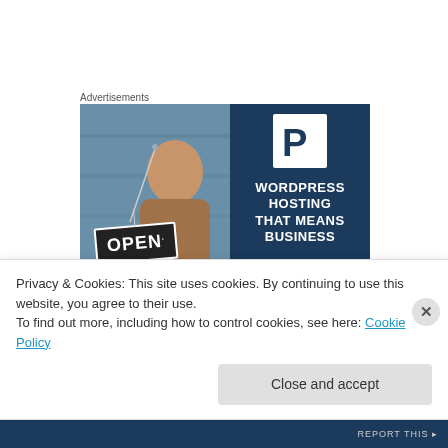Advertisements
[Figure (photo): Advertisement banner for WordPress Hosting showing a woman holding an OPEN sign on the left and dark blue panel with a P logo and text 'WORDPRESS HOSTING THAT MEANS BUSINESS' on the right]
Judy Zapinsky on February 27, 2012 at 9:34 pm
Privacy & Cookies: This site uses cookies. By continuing to use this website, you agree to their use.
To find out more, including how to control cookies, see here: Cookie Policy
Close and accept